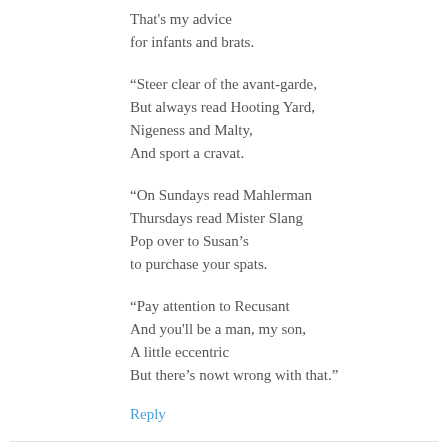That's my advice
for infants and brats.

“Steer clear of the avant-garde,
But always read Hooting Yard,
Nigeness and Malty,
And sport a cravat.

“On Sundays read Mahlerman
Thursdays read Mister Slang
Pop over to Susan’s
to purchase your spats.

“Pay attention to Recusant
And you'll be a man, my son,
A little eccentric
But there’s nowt wrong with that.”
Reply
Nige  9 June 2011 at 15:25
I and boff the same of it, also and by a pro to and